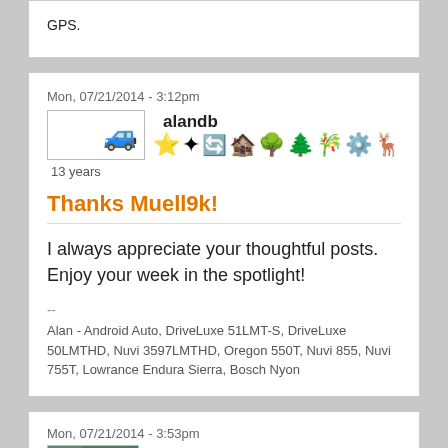GPS.
Mon, 07/21/2014 - 3:12pm
alandb
[Figure (illustration): User avatar with car icon and badges including stars, compass, barn, bonsai trees, windmill, deer]
13 years
Thanks Muell9k!
I always appreciate your thoughtful posts. Enjoy your week in the spotlight!
--
Alan - Android Auto, DriveLuxe 51LMT-S, DriveLuxe 50LMTHD, Nuvi 3597LMTHD, Oregon 550T, Nuvi 855, Nuvi 755T, Lowrance Endura Sierra, Bosch Nyon
Mon, 07/21/2014 - 3:53pm
maddog67